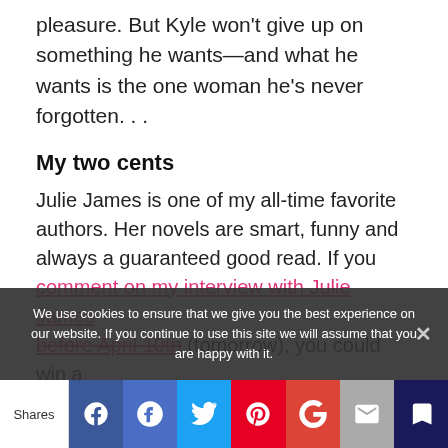pleasure. But Kyle won't give up on something he wants—and what he wants is the one woman he's never forgotten. . .
My two cents
Julie James is one of my all-time favorite authors. Her novels are smart, funny and always a guaranteed good read. If you comment on my interview with Julie James before April 10th (tomorrow), you could win a
We use cookies to ensure that we give you the best experience on our website. If you continue to use this site we will assume that you are happy with it.
Shares